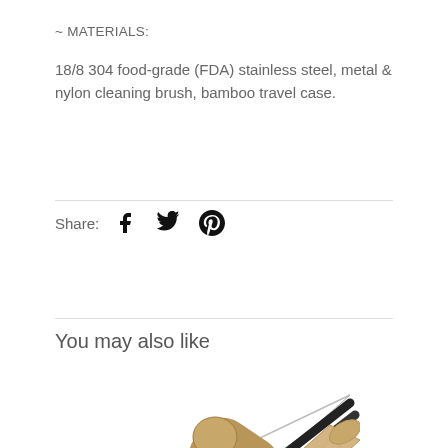~ MATERIALS:
18/8 304 food-grade (FDA) stainless steel, metal & nylon cleaning brush, bamboo travel case.
Share:
You may also like
[Figure (photo): Product photo showing bamboo travel case with black metal straws and a thin wire cleaning brush arranged diagonally]